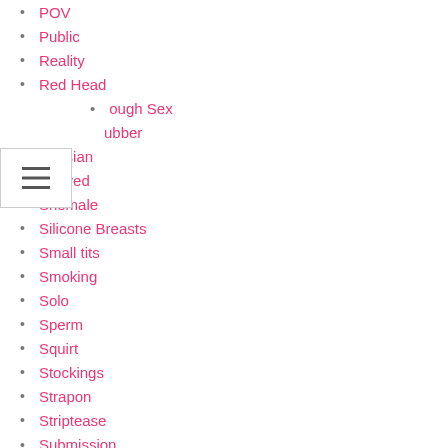POV
Public
Reality
Red Head
Rough Sex
Rubber
Russian
Shaved
Shemale
Silicone Breasts
Small tits
Smoking
Solo
Sperm
Squirt
Stockings
Strapon
Striptease
Submission